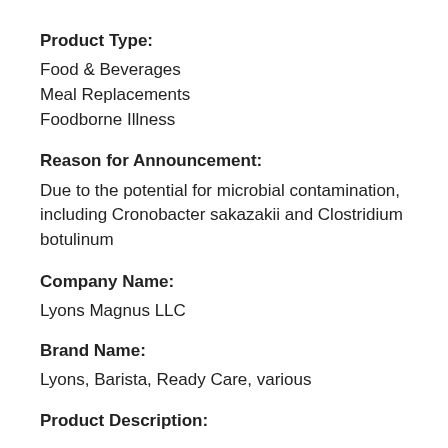Product Type:
Food & Beverages
Meal Replacements
Foodborne Illness
Reason for Announcement:
Due to the potential for microbial contamination, including Cronobacter sakazakii and Clostridium botulinum
Company Name:
Lyons Magnus LLC
Brand Name:
Lyons, Barista, Ready Care, various
Product Description: